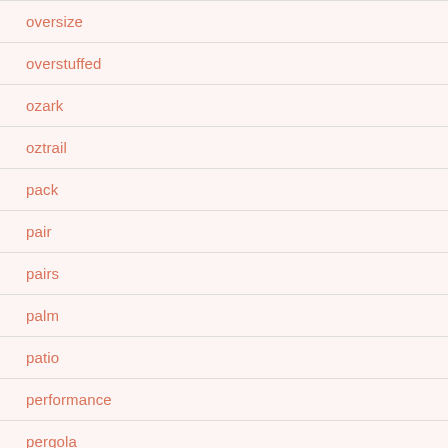oversize
overstuffed
ozark
oztrail
pack
pair
pairs
palm
patio
performance
pergola